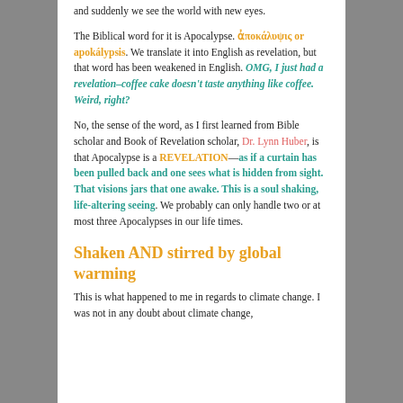and suddenly we see the world with new eyes.
The Biblical word for it is Apocalypse. ἀποκάλυψις or apokálypsis. We translate it into English as revelation, but that word has been weakened in English. OMG, I just had a revelation–coffee cake doesn't taste anything like coffee. Weird, right?
No, the sense of the word, as I first learned from Bible scholar and Book of Revelation scholar, Dr. Lynn Huber, is that Apocalypse is a REVELATION—as if a curtain has been pulled back and one sees what is hidden from sight. That visions jars that one awake. This is a soul shaking, life-altering seeing. We probably can only handle two or at most three Apocalypses in our life times.
Shaken AND stirred by global warming
This is what happened to me in regards to climate change. I was not in any doubt about climate change,